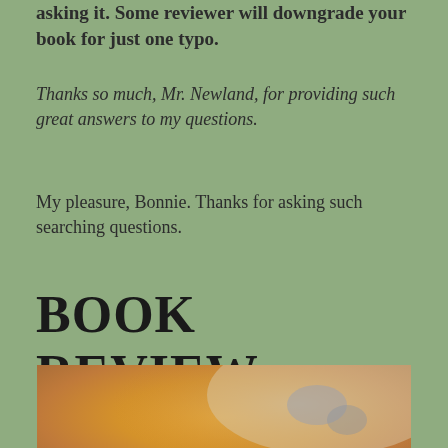...asking it. Some reviewer will downgrade your book for just one typo.
Thanks so much, Mr. Newland, for providing such great answers to my questions.
My pleasure, Bonnie. Thanks for asking such searching questions.
BOOK REVIEW
[Figure (photo): Book cover image showing a misty landscape with warm orange/yellow tones and a figure, partially visible at bottom of page.]